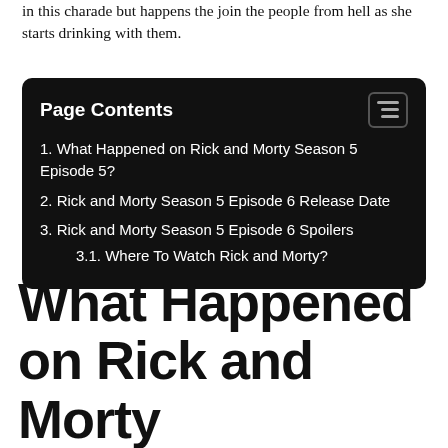in this charade but happens the join the people from hell as she starts drinking with them.
1. What Happened on Rick and Morty Season 5 Episode 5?
2. Rick and Morty Season 5 Episode 6 Release Date
3. Rick and Morty Season 5 Episode 6 Spoilers
3.1. Where To Watch Rick and Morty?
What Happened on Rick and Morty